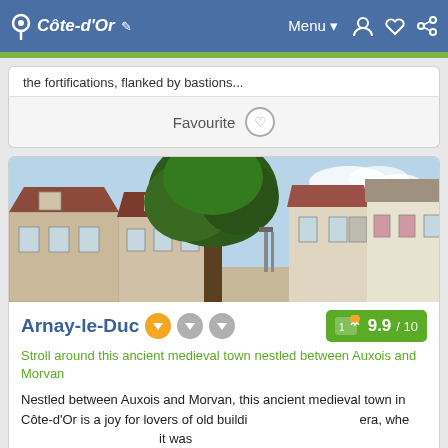Côte-d'Or  Menu
the fortifications, flanked by bastions...
Favourite
[Figure (photo): Photo of Arnay-le-Duc medieval town showing stone buildings with terracotta roofs and a large tree in the town square]
Arnay-le-Duc
9.9 / 10
Stroll around this ancient medieval town nestled between Auxois and Morvan
Nestled between Auxois and Morvan, this ancient medieval town in Côte-d'Or is a joy for lovers of old buildings from a medieval era, whe... it was...
YOUR HOLIDAYS